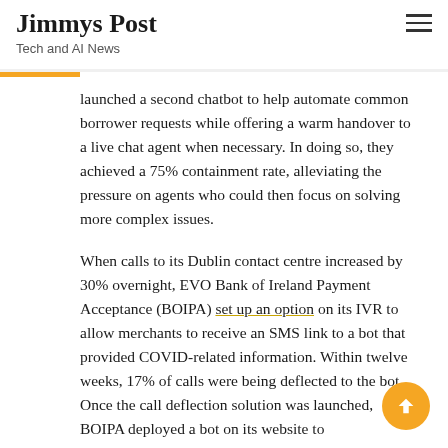Jimmys Post
Tech and AI News
launched a second chatbot to help automate common borrower requests while offering a warm handover to a live chat agent when necessary. In doing so, they achieved a 75% containment rate, alleviating the pressure on agents who could then focus on solving more complex issues.
When calls to its Dublin contact centre increased by 30% overnight, EVO Bank of Ireland Payment Acceptance (BOIPA) set up an option on its IVR to allow merchants to receive an SMS link to a bot that provided COVID-related information. Within twelve weeks, 17% of calls were being deflected to the bot. Once the call deflection solution was launched, BOIPA deployed a bot on its website to